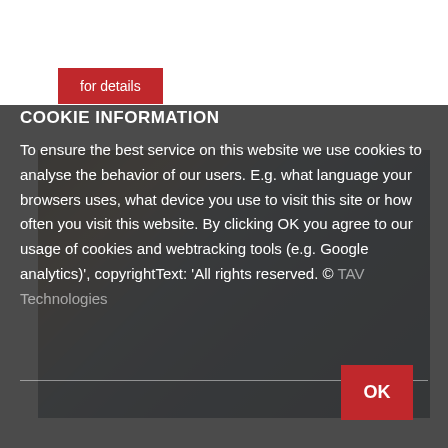for details
COOKIE INFORMATION
To ensure the best service on this website we use cookies to analyse the behavior of our users. E.g. what language your browsers uses, what device you use to visit this site or how often you visit this website. By clicking OK you agree to our usage of cookies and webtracking tools (e.g. Google analytics)', copyrightText: 'All rights reserved. © Technologies
OK